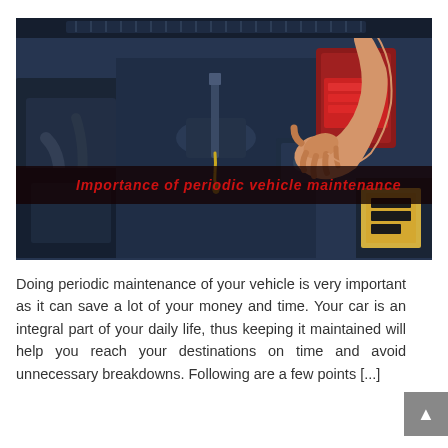[Figure (photo): A person's hand working on a car engine, checking or adjusting components under the hood. Dark blue/grey engine bay visible with various mechanical parts.]
Importance of periodic vehicle maintenance
Doing periodic maintenance of your vehicle is very important as it can save a lot of your money and time. Your car is an integral part of your daily life, thus keeping it maintained will help you reach your destinations on time and avoid unnecessary breakdowns. Following are a few points [...]